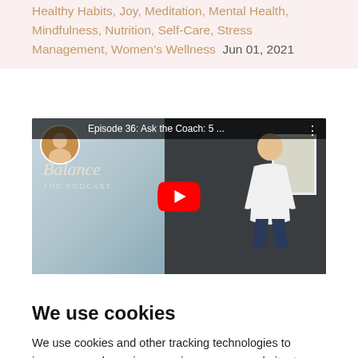Healthy Habits, Joy, Meditation, Mental Health, Mindfulness, Nutrition, Self-Care, Stress Management, Women's Wellness – Jun 01, 2021
[Figure (screenshot): YouTube video thumbnail for 'Episode 36: Ask the Coach: 5...' showing a podcast branded video with 'Balance THE PODCAST' text, a woman in white top, dark siding house backdrop, and a large red YouTube play button.]
We use cookies
We use cookies and other tracking technologies to improve your browsing experience on our website, to show you personalized content and targeted ads, to analyze our website traffic, and